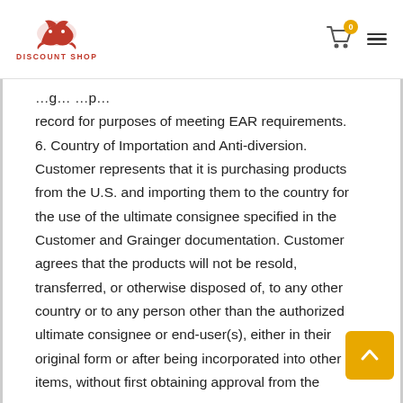DISCOUNT SHOP
record for purposes of meeting EAR requirements. 6. Country of Importation and Anti-diversion. Customer represents that it is purchasing products from the U.S. and importing them to the country for the use of the ultimate consignee specified in the Customer and Grainger documentation. Customer agrees that the products will not be resold, transferred, or otherwise disposed of, to any other country or to any person other than the authorized ultimate consignee or end-user(s), either in their original form or after being incorporated into other items, without first obtaining approval from the